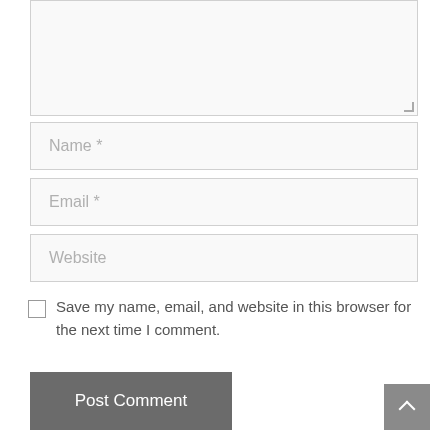[Figure (screenshot): Textarea input box (comment field), partially visible at top of page]
Name *
Email *
Website
Save my name, email, and website in this browser for the next time I comment.
Post Comment